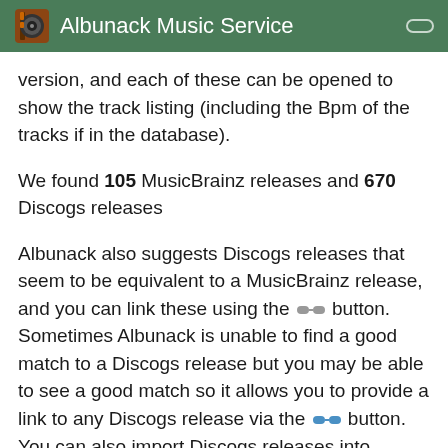Albunack Music Service
version, and each of these can be opened to show the track listing (including the Bpm of the tracks if in the database).
We found 105 MusicBrainz releases and 670 Discogs releases
Albunack also suggests Discogs releases that seem to be equivalent to a MusicBrainz release, and you can link these using the [link] button. Sometimes Albunack is unable to find a good match to a Discogs release but you may be able to see a good match so it allows you to provide a link to any Discogs release via the [link] button. You can also import Discogs releases into MusicBrainz using the [import] button, these are both available from the Action column for the release In all cases Albunack prepopulates the MusicBrainz Release Editor with the new information but